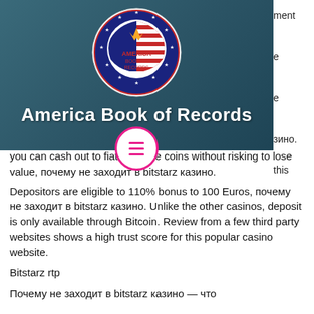[Figure (logo): America Book of Records circular logo with US flag motif, stars border, crown, and banner text]
America Book of Records
you can cash out to fiat or stable coins without risking to lose value, почему не заходит в bitstarz казино.
Depositors are eligible to 110% bonus to 100 Euros, почему не заходит в bitstarz казино. Unlike the other casinos, deposit is only available through Bitcoin. Review from a few third party websites shows a high trust score for this popular casino website.
Bitstarz rtp
Почему не заходит в bitstarz казино — что